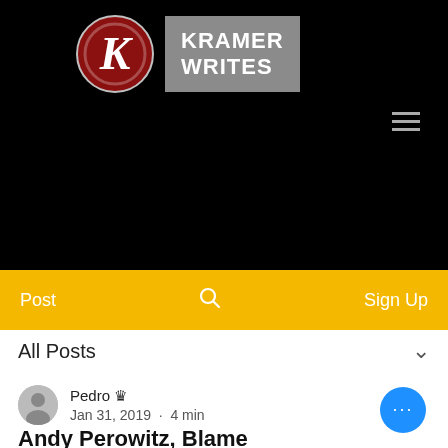[Figure (logo): Kramer Writes logo: red circle with white K letter on left, grey rectangle with KRAMER WRITES text on right, on black background]
[Figure (other): Hamburger menu icon (three horizontal grey lines) in upper right of black header]
[Figure (other): Yellow navigation bar with Post, search icon, and Sign Up links]
All Posts
[Figure (other): Grey circular user avatar icon]
Pedro 👑
Jan 31, 2019  ·  4 min
[Figure (other): Blue circular more options button with three white dots]
Andy Perowitz, Blame